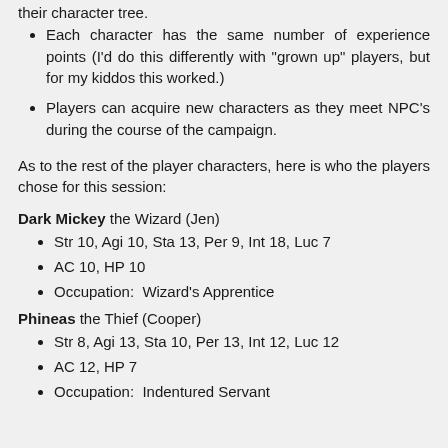Each character has the same number of experience points (I'd do this differently with "grown up" players, but for my kiddos this worked.)
Players can acquire new characters as they meet NPC's during the course of the campaign.
As to the rest of the player characters, here is who the players chose for this session:
Dark Mickey the Wizard (Jen)
Str 10, Agi 10, Sta 13, Per 9, Int 18, Luc 7
AC 10, HP 10
Occupation:  Wizard's Apprentice
Phineas the Thief (Cooper)
Str 8, Agi 13, Sta 10, Per 13, Int 12, Luc 12
AC 12, HP 7
Occupation:  Indentured Servant